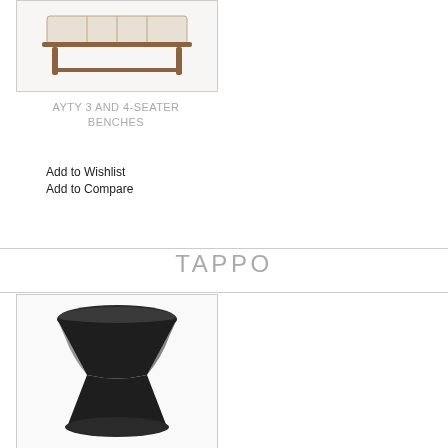[Figure (photo): Product photo of AYTY 3 and 4-seater bench with wooden frame and white cushion, shown from above/angle]
AYTY 3 AND 4-SEATER BENCHES
Add to Wishlist
Add to Compare
TAPPO
[Figure (photo): Product photo of TAPPO stool/side table in matte black with hourglass/cone shape]